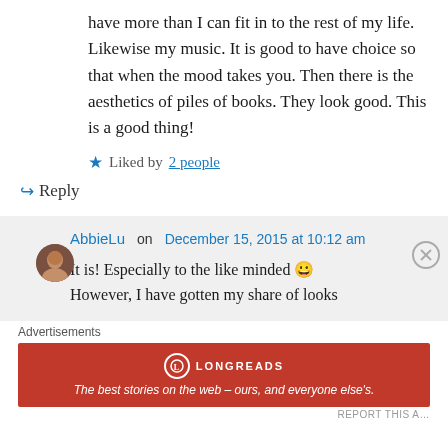have more than I can fit in to the rest of my life. Likewise my music. It is good to have choice so that when the mood takes you. Then there is the aesthetics of piles of books. They look good. This is a good thing!
★ Liked by 2 people
↳ Reply
AbbieLu on December 15, 2015 at 10:12 am
It is! Especially to the like minded 🙂
However, I have gotten my share of looks
Advertisements
[Figure (other): Longreads advertisement banner: red background with Longreads logo and tagline 'The best stories on the web – ours, and everyone else's.']